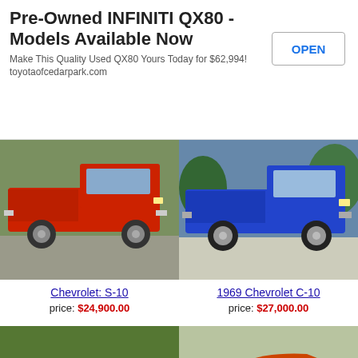Pre-Owned INFINITI QX80 - Models Available Now
Make This Quality Used QX80 Yours Today for $62,994!
toyotaofcedarpark.com
OPEN
[Figure (photo): Red Chevrolet S-10 pickup truck, side view]
[Figure (photo): Blue 1969 Chevrolet C-10 pickup truck, side view]
Chevrolet: S-10
price: $24,900.00
1969 Chevrolet C-10
price: $27,000.00
[Figure (photo): Vintage dark rat rod car with white wall tires]
[Figure (photo): Orange muscle car, side view close-up]